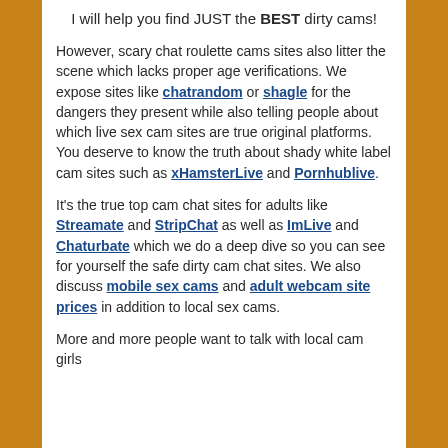I will help you find JUST the BEST dirty cams!
However, scary chat roulette cams sites also litter the scene which lacks proper age verifications. We expose sites like chatrandom or shagle for the dangers they present while also telling people about which live sex cam sites are true original platforms. You deserve to know the truth about shady white label cam sites such as xHamsterLive and Pornhublive.
It's the true top cam chat sites for adults like Streamate and StripChat as well as ImLive and Chaturbate which we do a deep dive so you can see for yourself the safe dirty cam chat sites. We also discuss mobile sex cams and adult webcam site prices in addition to local sex cams.
More and more people want to talk with local cam girls